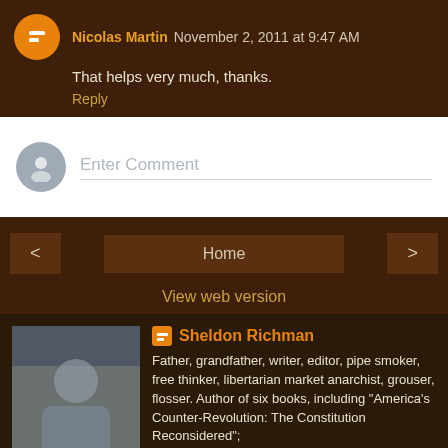Nicolas Martin  November 2, 2011 at 9:47 AM
That helps very much, thanks.
Reply
Enter Comment
Home
View web version
Sheldon Richman
Father, grandfather, writer, editor, pipe smoker, free thinker, libertarian market anarchist, grouser, flosser. Author of six books, including "America's Counter-Revolution: The Constitution Reconsidered"; "Coming to Palestine"; and "What Social Animals Owe to Each Other."